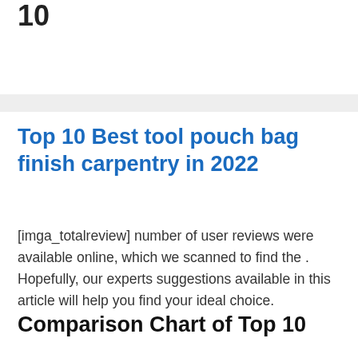10
Top 10 Best tool pouch bag finish carpentry in 2022
[imga_totalreview] number of user reviews were available online, which we scanned to find the . Hopefully, our experts suggestions available in this article will help you find your ideal choice.
Comparison Chart of Top 10